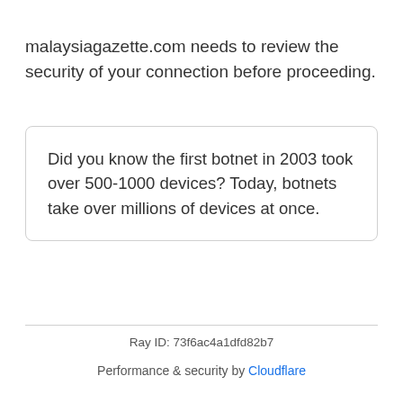malaysiagazette.com needs to review the security of your connection before proceeding.
Did you know the first botnet in 2003 took over 500-1000 devices? Today, botnets take over millions of devices at once.
Ray ID: 73f6ac4a1dfd82b7
Performance & security by Cloudflare